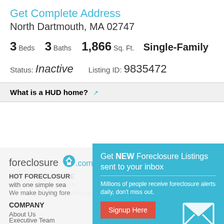Get Complete Address
North Dartmouth, MA 02747
3 Beds  3 Baths  1,866 Sq. Ft.  Single-Family
Status: Inactive  Listing ID: 9835472
What is a HUD home?
[Figure (screenshot): foreclosure.com logo with house pin icon]
HOT FORECLOSURES with one simple sea...
We make buying fore...
COMPANY
About Us
Executive Team
Contact Us
Scholarship Program
e-Documents
FAQs
[Figure (infographic): Popup modal with teal background: 'Get NEW Foreclosure Listings sent to your inbox' with signup button and mail icon]
Get NEW Foreclosure Listings sent to your inbox
Millions of people receive foreclosure alerts daily, don't miss out.
Signup Here
No Thanks | Remind Me Later